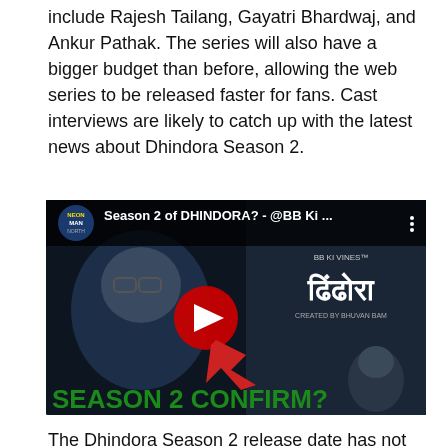include Rajesh Tailang, Gayatri Bhardwaj, and Ankur Pathak. The series will also have a bigger budget than before, allowing the web series to be released faster for fans. Cast interviews are likely to catch up with the latest news about Dhindora Season 2.
[Figure (screenshot): YouTube video thumbnail showing a man with glasses and beard, with the title 'Season 2 of DHINDORA? - @BB Ki ...' from Neon Man channel, Hindi text reading 'Dhindora', and bold green text 'SEASON 2 CONFIRM?' at the bottom.]
The Dhindora Season 2 release date has not been